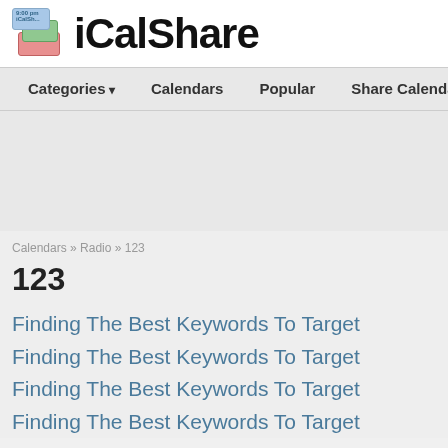[Figure (logo): iCalShare logo with stacked calendar event boxes (blue, green, red) and bold 'iCalShare' text]
Categories ▾   Calendars   Popular   Share Calendar
Calendars » Radio » 123
123
Finding The Best Keywords To Target
Finding The Best Keywords To Target
Finding The Best Keywords To Target
Finding The Best Keywords To Target